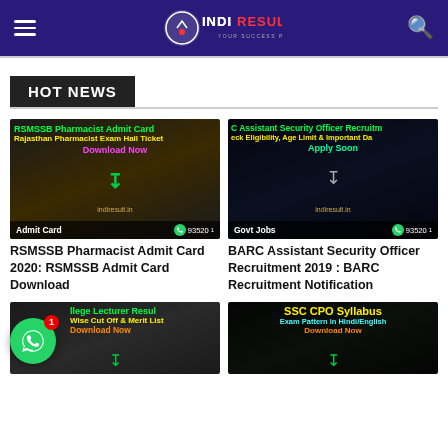INDIRESULT - YOUR SUCCESS PARTNER
HOT NEWS
[Figure (screenshot): RSMSSB Pharmacist Admit Card thumbnail - Rajasthan Pharmacist Exam Hall Ticket Download Now, indiresult.in, Admit Card, 935201]
RSMSSB Pharmacist Admit Card 2020: RSMSSB Admit Card Download
[Figure (screenshot): BARC Assistant Security Officer Recruitment thumbnail - Check Eligibility Age Limit & Important Dates Apply Soon, indiresult.in, Govt Jobs, 935201]
BARC Assistant Security Officer Recruitment 2019 : BARC Recruitment Notification
[Figure (screenshot): College Lecturer Result - Subject Wise Cut Off & Merit List Download Now, indiresult.in]
[Figure (screenshot): SSC CPO Syllabus - Exam Pattern in Hindi/English Download Now, indiresult.in]